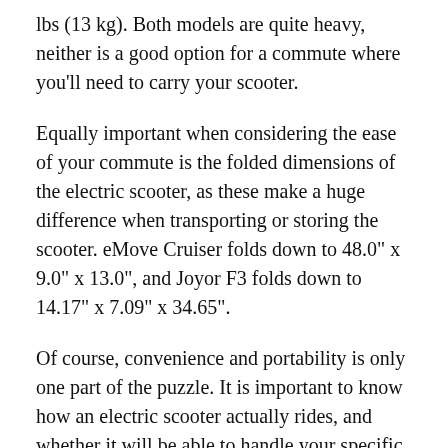lbs (13 kg). Both models are quite heavy, neither is a good option for a commute where you'll need to carry your scooter.
Equally important when considering the ease of your commute is the folded dimensions of the electric scooter, as these make a huge difference when transporting or storing the scooter. eMove Cruiser folds down to 48.0" x 9.0" x 13.0", and Joyor F3 folds down to 14.17" x 7.09" x 34.65".
Of course, convenience and portability is only one part of the puzzle. It is important to know how an electric scooter actually rides, and whether it will be able to handle your specific commute.